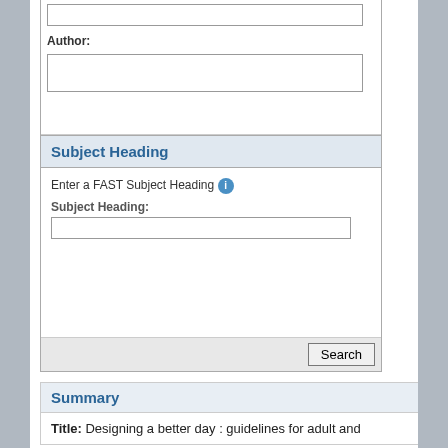Author:
Search
Subject Heading
Enter a FAST Subject Heading
Subject Heading:
Search
Summary
Title: Designing a better day : guidelines for adult and